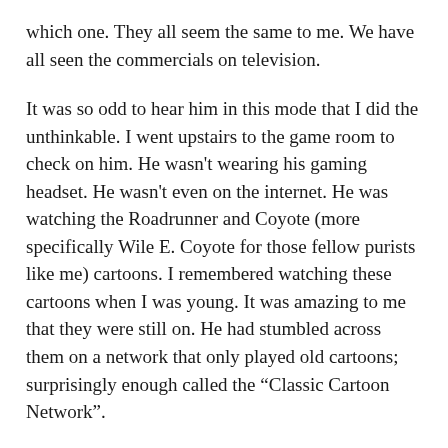which one. They all seem the same to me. We have all seen the commercials on television.
It was so odd to hear him in this mode that I did the unthinkable. I went upstairs to the game room to check on him. He wasn't wearing his gaming headset. He wasn't even on the internet. He was watching the Roadrunner and Coyote (more specifically Wile E. Coyote for those fellow purists like me) cartoons. I remembered watching these cartoons when I was young. It was amazing to me that they were still on. He had stumbled across them on a network that only played old cartoons; surprisingly enough called the “Classic Cartoon Network”.
Being of sound mind and body, a guy, and having cartoons on the television, I did the only logical thing. I went in, sat down and watched old cartoons with my son. Some of them I remembered and some I didn’t. It was fun to hang out with my son, but as usual, it got me to thinking. The humorous aspect of